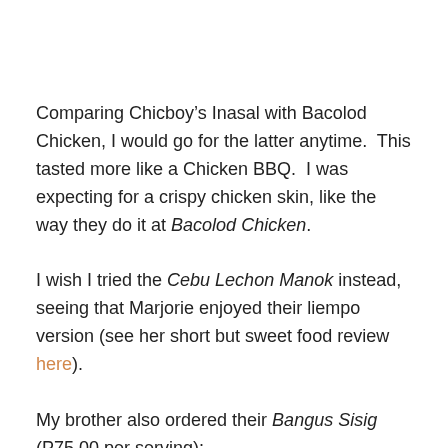Comparing Chicboy's Inasal with Bacolod Chicken, I would go for the latter anytime.  This tasted more like a Chicken BBQ.  I was expecting for a crispy chicken skin, like the way they do it at Bacolod Chicken.
I wish I tried the Cebu Lechon Manok instead, seeing that Marjorie enjoyed their liempo version (see her short but sweet food review here).
My brother also ordered their Bangus Sisig (P75.00 per serving):